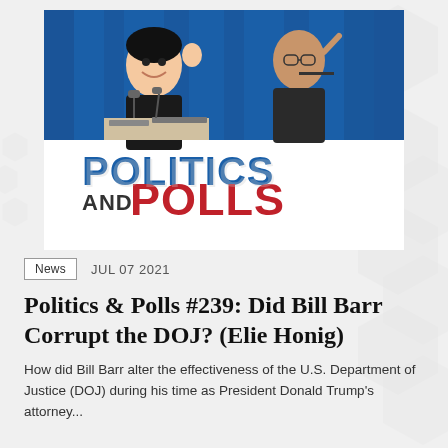[Figure (illustration): Politics and Polls podcast cover art showing two men at a press conference podium with blue curtain backdrop, above large bold text reading 'POLITICS AND POLLS' in blue and red letters]
News   JUL 07 2021
Politics & Polls #239: Did Bill Barr Corrupt the DOJ? (Elie Honig)
How did Bill Barr alter the effectiveness of the U.S. Department of Justice (DOJ) during his time as President Donald Trump's attorney...